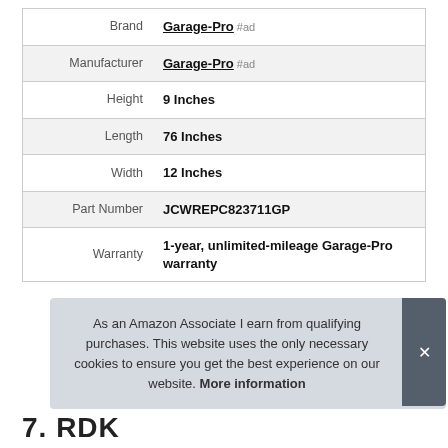| Attribute | Value |
| --- | --- |
| Brand | Garage-Pro #ad |
| Manufacturer | Garage-Pro #ad |
| Height | 9 Inches |
| Length | 76 Inches |
| Width | 12 Inches |
| Part Number | JCWREPC823711GP |
| Warranty | 1-year, unlimited-mileage Garage-Pro warranty |
As an Amazon Associate I earn from qualifying purchases. This website uses the only necessary cookies to ensure you get the best experience on our website. More information